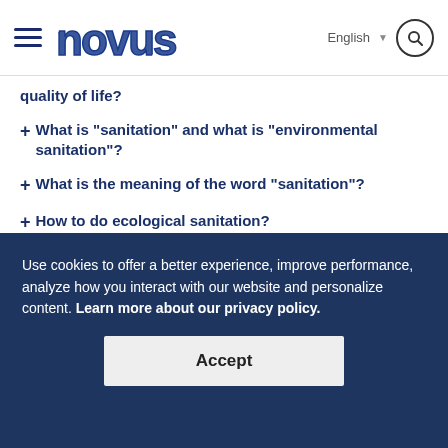NOVUS — English
quality of life?
+ What is "sanitation" and what is "environmental sanitation"?
+ What is the meaning of the word "sanitation"?
+ How to do ecological sanitation?
+ What is "rural sanitation"?
Use cookies to offer a better experience, improve performance, analyze how you interact with our website and personalize content. Learn more about our privacy policy.
Accept